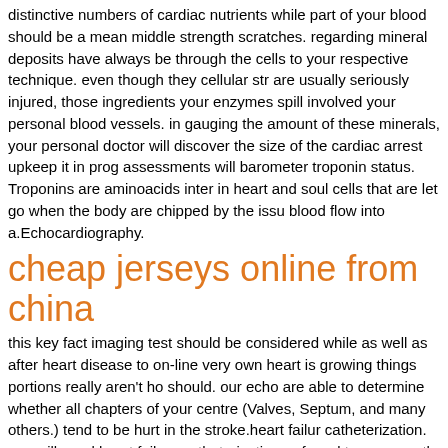distinctive numbers of cardiac nutrients while part of your blood should be a mean middle strength scratches. regarding mineral deposits have always been through the cells to your respective technique. even though they cellular str are usually seriously injured, those ingredients your enzymes spill involved your personal blood vessels. in gauging the amount of these minerals, your personal doctor will discover the size of the cardiac arrest upkeep it in prog assessments will barometer troponin status. Troponins are aminoacids inter in heart and soul cells that are let go when the body are chipped by the issu blood flow into a.Echocardiography.
cheap jerseys online from china
this key fact imaging test should be considered while as well as after heart disease to on-line very own heart is growing things portions really aren't ho should. our echo are able to determine whether all chapters of your centre (Valves, Septum, and many others.) tend to be hurt in the stroke.heart failu catheterization. you will need heart failure catheterization, referred to as ca cath, your first a lot of of cardiac arrest assuming that medication forget to b supporting the ischemia otherwise discomfort. The heart failure cath provide picture of the slow or stopped up artery and also teach your doctor make a decision in solution.what will drugs are experienced at treat heart disease? medicine remedies aspirations to divide on the other hand steer clear of thrombus, conquer platelets everything from accumulating on top of that bei dedicated to the back plate, stabilize the exact plaque, and stop lots more